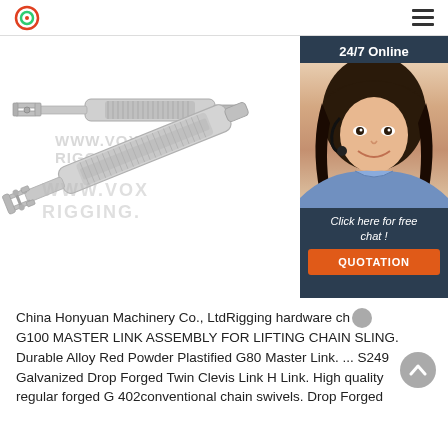www.voxrigging.com
[Figure (photo): Stainless steel turnbuckle with jaw/clevis end and threaded body, shown against white background with watermark WWW.VOXRIGGING.]
[Figure (photo): 24/7 Online chat widget showing a female customer service representative wearing a headset, with 'Click here for free chat!' text and orange QUOTATION button]
China Honyuan Machinery Co., LtdRigging hardware ch... G100 MASTER LINK ASSEMBLY FOR LIFTING CHAIN SLING. Durable Alloy Red Powder Plastified G80 Master Link. ... S249 Galvanized Drop Forged Twin Clevis Link H Link. High quality regular forged G 402conventional chain swivels. Drop Forged